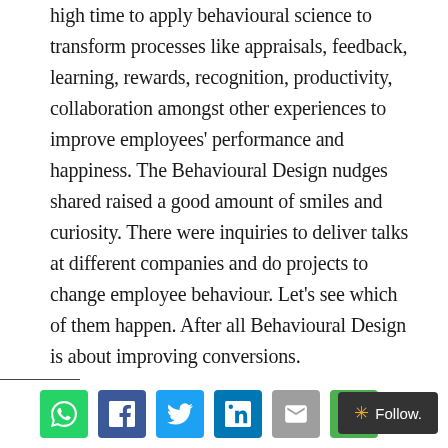high time to apply behavioural science to transform processes like appraisals, feedback, learning, rewards, recognition, productivity, collaboration amongst other experiences to improve employees' performance and happiness. The Behavioural Design nudges shared raised a good amount of smiles and curiosity. There were inquiries to deliver talks at different companies and do projects to change employee behaviour. Let's see which of them happen. After all Behavioural Design is about improving conversions.
[Figure (other): Social media sharing buttons: WhatsApp, Facebook, Twitter, LinkedIn, Email, Share, and a Follow button]